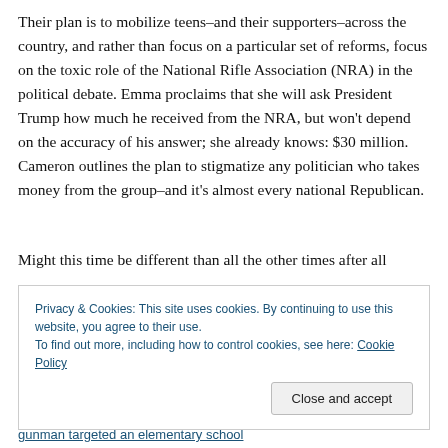Their plan is to mobilize teens–and their supporters–across the country, and rather than focus on a particular set of reforms, focus on the toxic role of the National Rifle Association (NRA) in the political debate. Emma proclaims that she will ask President Trump how much he received from the NRA, but won't depend on the accuracy of his answer; she already knows: $30 million. Cameron outlines the plan to stigmatize any politician who takes money from the group–and it's almost every national Republican.
Might this time be different than all the other times after all the other horrific shootings?
Privacy & Cookies: This site uses cookies. By continuing to use this website, you agree to their use.
To find out more, including how to control cookies, see here: Cookie Policy
Close and accept
gunman targeted an elementary school